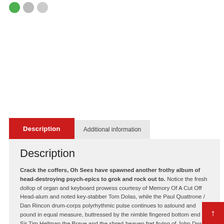[Figure (other): Three small circles at top: green, light gray, lighter gray]
Description
Additional information
Description
Crack the coffers, Oh Sees have spawned another frothy album of head-destroying psych-epics to grok and rock out to. Notice the fresh dollop of organ and keyboard prowess courtesy of Memory Of A Cut Off Head-alum and noted key-stabber Tom Dolas, while the Paul Quattrone / Dan Rincon drum-corps polyrhythmic pulse continues to astound and pound in equal measure, buttressed by the nimble fingered bottom end of Sir Tim Hellman the Brave and the shred-heaven fret frying of John Dwyer, whilst Lady Brigid Dawson again graces the